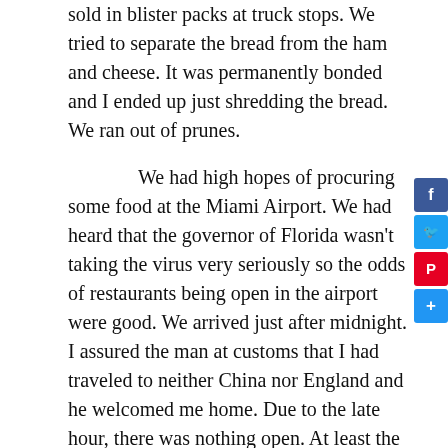sold in blister packs at truck stops. We tried to separate the bread from the ham and cheese. It was permanently bonded and I ended up just shredding the bread. We ran out of prunes.
We had high hopes of procuring some food at the Miami Airport. We had heard that the governor of Florida wasn't taking the virus very seriously so the odds of restaurants being open in the airport were good. We arrived just after midnight. I assured the man at customs that I had traveled to neither China nor England and he welcomed me home. Due to the late hour, there was nothing open. At least the vending machines were plugged in. Two overpriced granola bars and a bag of chips later we laid claim to a swirly red metal bench and tried to get some sleep. A succession of fifteen-minute naps ensued. The morning was elusive.
Finally, enough time had passed that we could